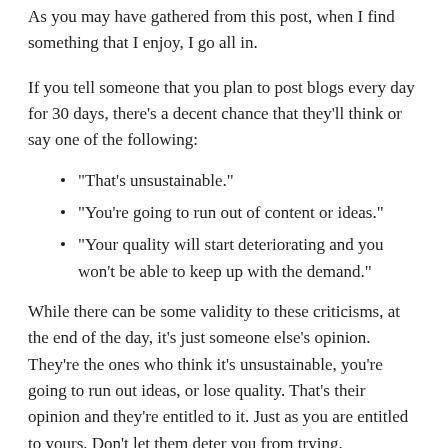As you may have gathered from this post, when I find something that I enjoy, I go all in.
If you tell someone that you plan to post blogs every day for 30 days, there's a decent chance that they'll think or say one of the following:
“That’s unsustainable.”
“You’re going to run out of content or ideas.”
“Your quality will start deteriorating and you won’t be able to keep up with the demand.”
While there can be some validity to these criticisms, at the end of the day, it’s just someone else’s opinion. They’re the ones who think it’s unsustainable, you’re going to run out ideas, or lose quality. That’s their opinion and they’re entitled to it. Just as you are entitled to yours. Don’t let them deter you from trying.